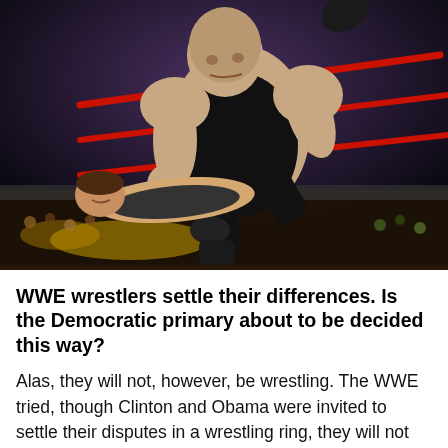[Figure (photo): Two WWE wrestlers in a wrestling ring. A large bald wrestler in black attire is leaning over and grappling a smaller opponent who is on the mat. Red ring ropes are visible in the background along with a crowd in the arena.]
WWE wrestlers settle their differences. Is the Democratic primary about to be decided this way?
Alas, they will not, however, be wrestling. The WWE tried, though Clinton and Obama were invited to settle their disputes in a wrestling ring, they will not...